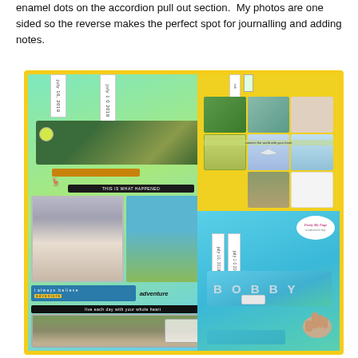enamel dots on the accordion pull out section.  My photos are one sided so the reverse makes the perfect spot for journalling and adding notes.
[Figure (photo): Three photos showing handmade scrapbook accordion pull-out mini album with zoo/travel theme. Left photo: open mini album on yellow background showing green gradient pages with stickers, cheetah photo, couple selfie, rhino photo, and journalling labels. Top right: bird's eye view of cross-shaped accordion expanded on yellow background showing airplane, animal and travel photos. Bottom right: mini album cover on yellow background with 'BOBBY' text, tabs, and brand logo 'Pretty My Page', hand pulling tab.]